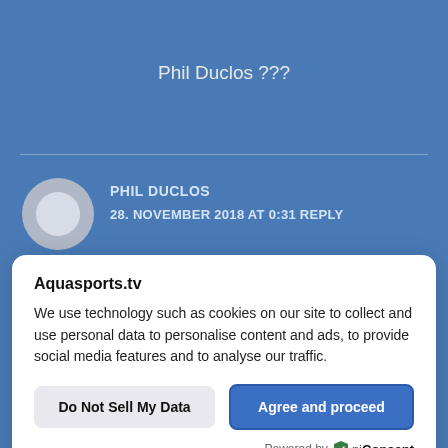Phil Duclos ???
PHIL DUCLOS
28. NOVEMBER 2018 AT 0:31 REPLY
Aquasports.tv
We use technology such as cookies on our site to collect and use personal data to personalise content and ads, to provide social media features and to analyse our traffic.
Do Not Sell My Data
Agree and proceed
Powered by UniConsent